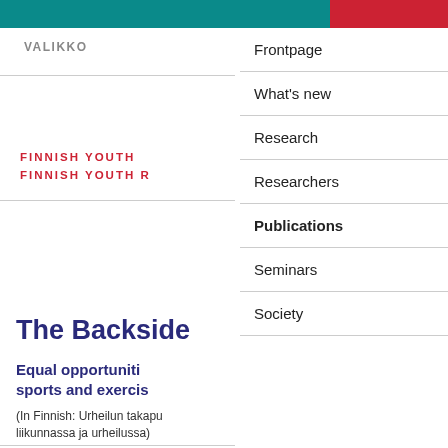VALIKKO
FINNISH YOUTH
FINNISH YOUTH R
Frontpage
What's new
Research
Researchers
Publications
Seminars
Society
The Backside
Equal opportuniti
sports and exercis
(In Finnish: Urheilun takapu
liikunnassa ja urheilussa)